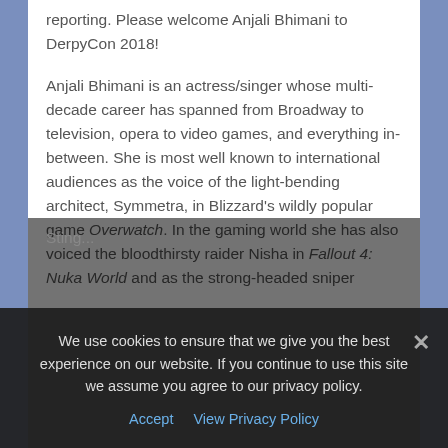reporting. Please welcome Anjali Bhimani to DerpyCon 2018!
Anjali Bhimani is an actress/singer whose multi-decade career has spanned from Broadway to television, opera to video games, and everything in-between. She is most well known to international audiences as the voice of the light-bending architect, Symmetra, in Blizzard’s wildly popular game Overwatch. In the gaming world she has also voiced the bloodthirsty raider Nisha in Fallout 4: Nuka World and as the strong-headed sniper Sting...
We use cookies to ensure that we give you the best experience on our website. If you continue to use this site we assume you agree to our privacy policy.